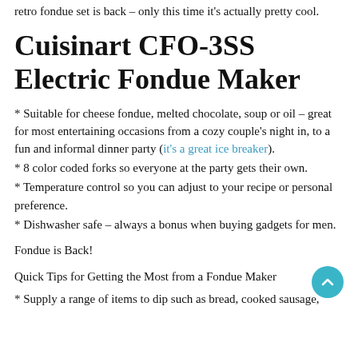retro fondue set is back – only this time it's actually pretty cool.
Cuisinart CFO-3SS Electric Fondue Maker
* Suitable for cheese fondue, melted chocolate, soup or oil – great for most entertaining occasions from a cozy couple's night in, to a fun and informal dinner party (it's a great ice breaker).
* 8 color coded forks so everyone at the party gets their own.
* Temperature control so you can adjust to your recipe or personal preference.
* Dishwasher safe – always a bonus when buying gadgets for men.
Fondue is Back!
Quick Tips for Getting the Most from a Fondue Maker
* Supply a range of items to dip such as bread, cooked sausage,